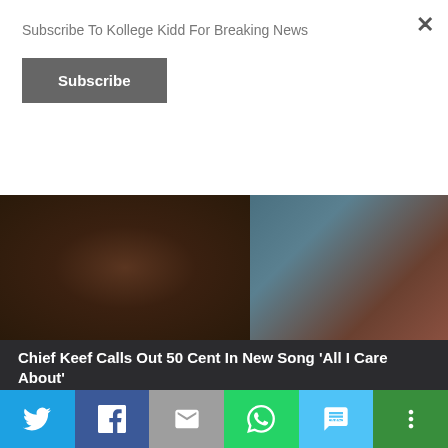Subscribe To Kollege Kidd For Breaking News
Subscribe
[Figure (photo): Dark photo showing two figures, one in black shorts with tattoos on left, another in light blue/teal clothing on right]
Chief Keef Calls Out 50 Cent In New Song ‘All I Care About’
Posted on February 6, 2014 | No Comments
“I don’t hang with 50 now, b***h my watch cost like 50 now,” – Chief Keef
READ MORE
Twitter | Facebook | Email | WhatsApp | SMS | More